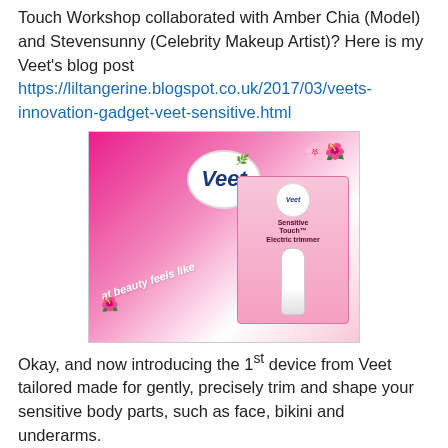Touch Workshop collaborated with Amber Chia (Model) and Stevensunny (Celebrity Makeup Artist)? Here is my Veet's blog post https://liltangerine.blogspot.co.uk/2017/03/veets-innovation-gadget-veet-sensitive.html
[Figure (photo): Veet Sensitive Touch electric trimmer product in pink packaging, displayed on a pink branded mat with floral decorations and the tagline 'at beauty feels like']
Okay, and now introducing the 1st device from Veet tailored made for gently, precisely trim and shape your sensitive body parts, such as face, bikini and underarms.
[Figure (photo): Partial view of another Veet product image at the bottom of the page]